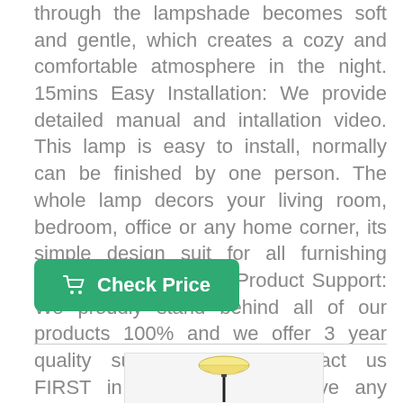through the lampshade becomes soft and gentle, which creates a cozy and comfortable atmosphere in the night. 15mins Easy Installation: We provide detailed manual and intallation video. This lamp is easy to install, normally can be finished by one person. The whole lamp decors your living room, bedroom, office or any home corner, its simple design suit for all furnishing style. addlon's 3 Year Product Support: We proudly stand behind all of our products 100% and we offer 3 year quality support. Please contact us FIRST in anytime if you have any problem. We are glad to provide help.
[Figure (other): Green 'Check Price' button with shopping cart icon]
[Figure (photo): Floor lamp image showing a lamp with a wide shade on a thin black pole, partially visible at the bottom of the page]